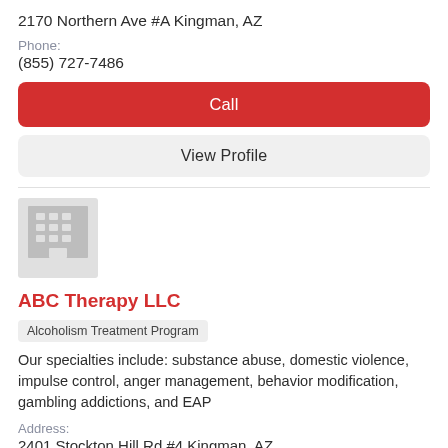2170 Northern Ave #A Kingman, AZ
Phone:
(855) 727-7486
Call
View Profile
[Figure (illustration): Gray building/office placeholder icon]
ABC Therapy LLC
Alcoholism Treatment Program
Our specialties include: substance abuse, domestic violence, impulse control, anger management, behavior modification, gambling addictions, and EAP
Address:
2401 Stockton Hill Rd #4 Kingman, AZ